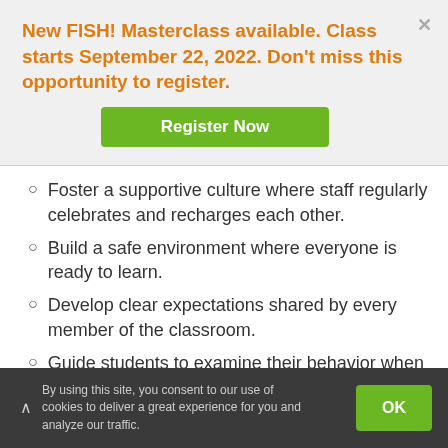New FISH! Masterclass available. Class starts September 22, 2022. Don't miss this opportunity to register.
Register Now
Foster a supportive culture where staff regularly celebrates and recharges each other.
Build a safe environment where everyone is ready to learn.
Develop clear expectations shared by every member of the classroom.
Guide students to examine their behavior when it doesn't work
By using this site, you consent to our use of cookies to deliver a great experience for you and analyze our traffic.